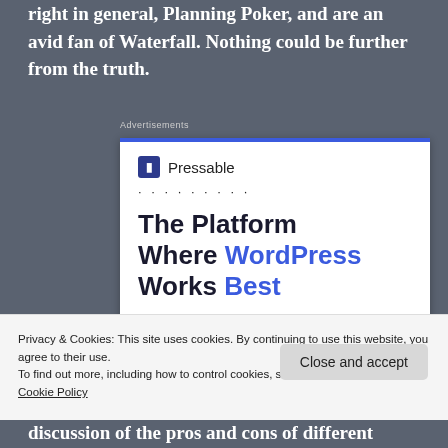right in general, Planning Poker, and are an avid fan of Waterfall. Nothing could be further from the truth.
[Figure (screenshot): Advertisement for Pressable hosting: logo with 'Pressable' text, dotted line separator, headline 'The Platform Where WordPress Works Best' with 'WordPress Works Best' in blue.]
Privacy & Cookies: This site uses cookies. By continuing to use this website, you agree to their use.
To find out more, including how to control cookies, see here: Cookie Policy
discussion of the pros and cons of different